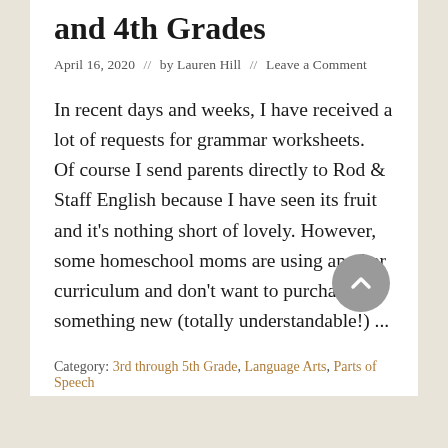and 4th Grades
April 16, 2020  //  by Lauren Hill  //  Leave a Comment
In recent days and weeks, I have received a lot of requests for grammar worksheets.  Of course I send parents directly to Rod & Staff English because I have seen its fruit and it's nothing short of lovely. However, some homeschool moms are using another curriculum and don't want to purchase something new (totally understandable!) ...
Category: 3rd through 5th Grade, Language Arts, Parts of Speech